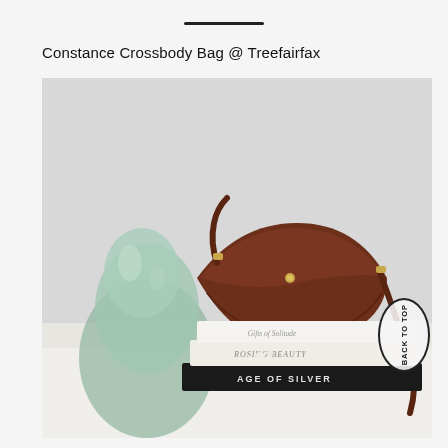Constance Crossbody Bag @ Treefairfax
[Figure (photo): A brown leather half-moon crossbody bag with gold hardware and a brown leather strap, displayed on a stack of books next to a glass head sculpture on a white fluffy surface. Books visible include 'Gifts of Solitude' and 'AGE OF SILVER'.]
BACK TO TOP